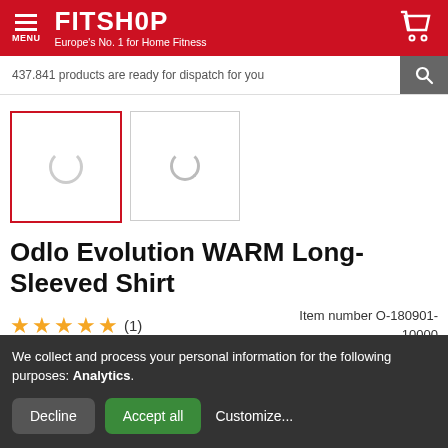FITSHOP — Europe's No. 1 for Home Fitness
437.841 products are ready for dispatch for you
[Figure (photo): Two loading spinner thumbnail images for product gallery]
Odlo Evolution WARM Long-Sleeved Shirt
★★★★★ (1)   Item number O-180901-10000
We collect and process your personal information for the following purposes: Analytics. [Decline] [Accept all] [Customize...]